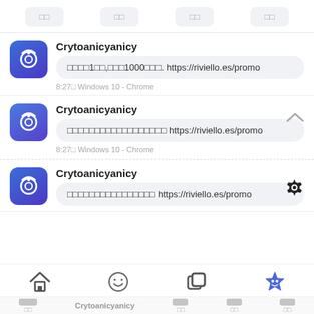Tab bar with four items
Crytoanicyanicy — ①①①①1①①,①①①1000①①①. https://riviello.es/promo — 8:27① Windows 10 - Chrome
Crytoanicyanicy — ①①①①①①①①①①①①①①①①①① https://riviello.es/promo — 8:27① Windows 10 - Chrome
Crytoanicyanicy — ①①①①①①①①①①①①①①①① https://riviello.es/promo
Bottom navigation bar: home, emoji, copy, star